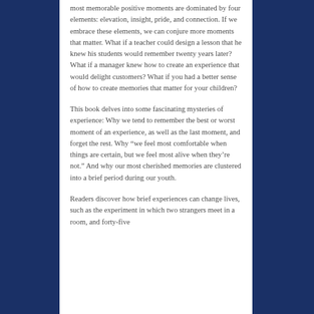most memorable positive moments are dominated by four elements: elevation, insight, pride, and connection. If we embrace these elements, we can conjure more moments that matter. What if a teacher could design a lesson that he knew his students would remember twenty years later? What if a manager knew how to create an experience that would delight customers? What if you had a better sense of how to create memories that matter for your children?
This book delves into some fascinating mysteries of experience: Why we tend to remember the best or worst moment of an experience, as well as the last moment, and forget the rest. Why “we feel most comfortable when things are certain, but we feel most alive when they’re not.” And why our most cherished memories are clustered into a brief period during our youth.
Readers discover how brief experiences can change lives, such as the experiment in which two strangers meet in a room, and forty-five